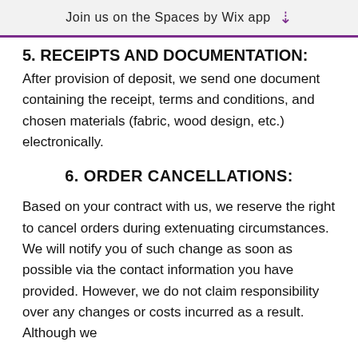Join us on the Spaces by Wix app ↓
5. RECEIPTS AND DOCUMENTATION:
After provision of deposit, we send one document containing the receipt, terms and conditions, and chosen materials (fabric, wood design, etc.) electronically.
6. ORDER CANCELLATIONS:
Based on your contract with us, we reserve the right to cancel orders during extenuating circumstances. We will notify you of such change as soon as possible via the contact information you have provided. However, we do not claim responsibility over any changes or costs incurred as a result. Although we